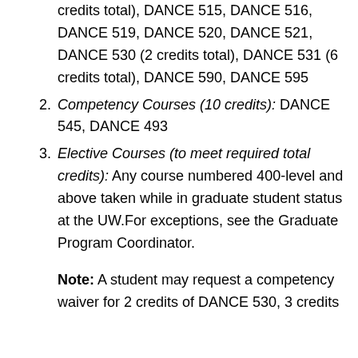credits total), DANCE 515, DANCE 516, DANCE 519, DANCE 520, DANCE 521, DANCE 530 (2 credits total), DANCE 531 (6 credits total), DANCE 590, DANCE 595
2. Competency Courses (10 credits): DANCE 545, DANCE 493
3. Elective Courses (to meet required total credits): Any course numbered 400-level and above taken while in graduate student status at the UW.For exceptions, see the Graduate Program Coordinator.
Note: A student may request a competency waiver for 2 credits of DANCE 530, 3 credits